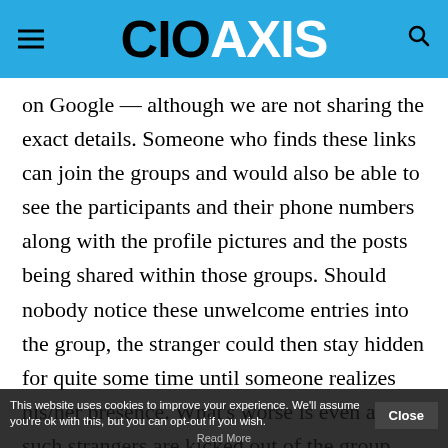CIOAXIS
on Google — although we are not sharing the exact details. Someone who finds these links can join the groups and would also be able to see the participants and their phone numbers along with the profile pictures and the posts being shared within those groups. Should nobody notice these unwelcome entries into the group, the stranger could then stay hidden for quite some time until someone realizes his/her presence. What's worse is even after such strangers are kicked out of the group, their brief entry still leaves them with the list of phone numbers in the group.
This website uses cookies to improve your experience. We'll assume you're ok with this, but you can opt-out if you wish. Close Read More